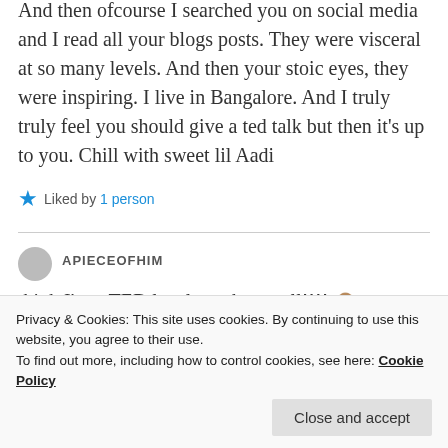And then ofcourse I searched you on social media and I read all your blogs posts. They were visceral at so many levels. And then your stoic eyes, they were inspiring. I live in Bangalore. And I truly truly feel you should give a ted talk but then it's up to you. Chill with sweet lil Aadi
★ Liked by 1 person
APIECEOFHIM
Privacy & Cookies: This site uses cookies. By continuing to use this website, you agree to their use. To find out more, including how to control cookies, see here: Cookie Policy
Close and accept
think I'm a TED level speaker at all!!!!